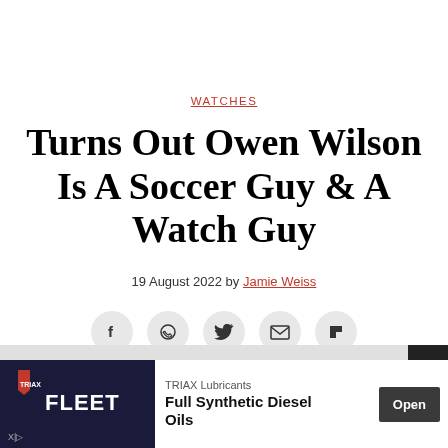WATCHES
Turns Out Owen Wilson Is A Soccer Guy & A Watch Guy
19 August 2022 by Jamie Weiss
[Figure (infographic): Social share icons: Facebook, WhatsApp, Twitter, Email, Flipboard]
[Figure (infographic): Advertisement banner: TRIAX Lubricants FLEET Full Synthetic Diesel Oils with Open button]